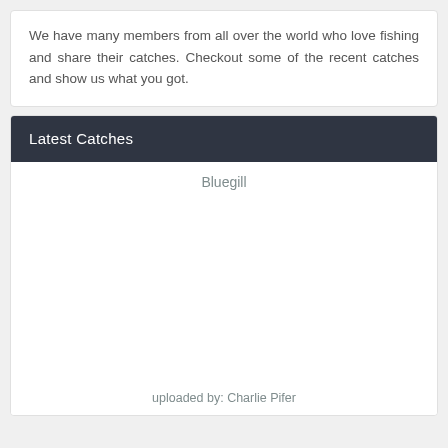We have many members from all over the world who love fishing and share their catches. Checkout some of the recent catches and show us what you got.
Latest Catches
Bluegill
[Figure (photo): Empty white area where a photo of a Bluegill fish catch would appear]
uploaded by: Charlie Pifer